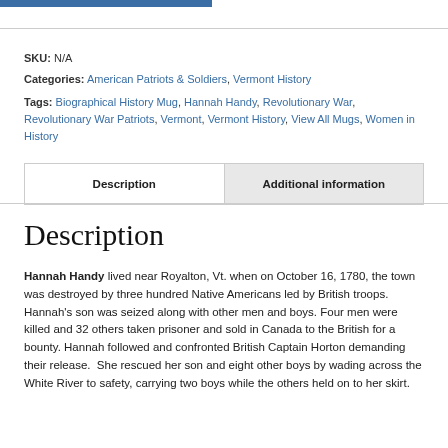SKU: N/A
Categories: American Patriots & Soldiers, Vermont History
Tags: Biographical History Mug, Hannah Handy, Revolutionary War, Revolutionary War Patriots, Vermont, Vermont History, View All Mugs, Women in History
| Description | Additional information |
| --- | --- |
Description
Hannah Handy lived near Royalton, Vt. when on October 16, 1780, the town was destroyed by three hundred Native Americans led by British troops. Hannah's son was seized along with other men and boys. Four men were killed and 32 others taken prisoner and sold in Canada to the British for a bounty. Hannah followed and confronted British Captain Horton demanding their release. She rescued her son and eight other boys by wading across the White River to safety, carrying two boys while the others held on to her skirt.